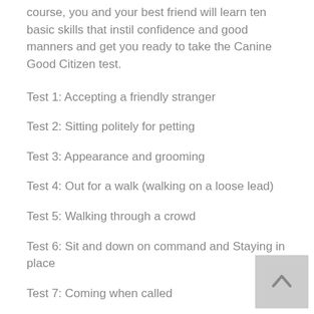course, you and your best friend will learn ten basic skills that instil confidence and good manners and get you ready to take the Canine Good Citizen test.
Test 1: Accepting a friendly stranger
Test 2: Sitting politely for petting
Test 3: Appearance and grooming
Test 4: Out for a walk (walking on a loose lead)
Test 5: Walking through a crowd
Test 6: Sit and down on command and Staying in place
Test 7: Coming when called